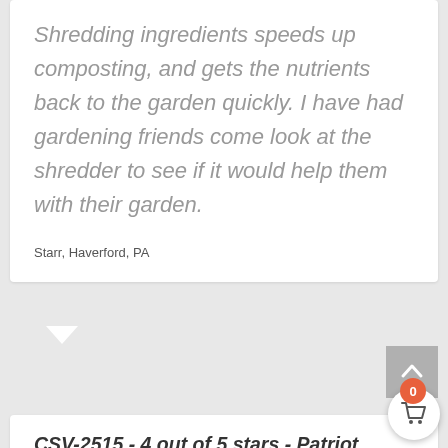Shredding ingredients speeds up composting, and gets the nutrients back to the garden quickly. I have had gardening friends come look at the shredder to see if it would help them with their garden.
Starr, Haverford, PA
CSV-2515 - 4 out of 5 stars - Patriot Customer Review - Posted 05/04/16